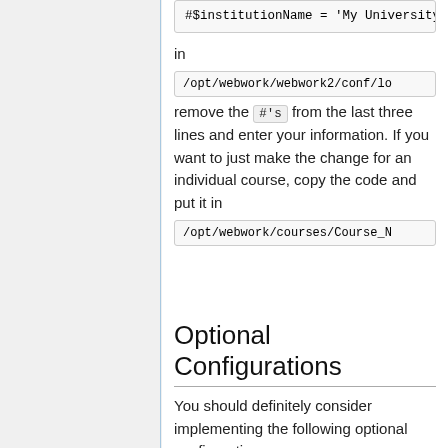#$institutionName = 'My University';
in
/opt/webwork/webwork2/conf/lo
remove the #'s from the last three lines and enter your information. If you want to just make the change for an individual course, copy the code and put it in
/opt/webwork/courses/Course_N
Optional Configurations
You should definitely consider implementing the following optional configurations.